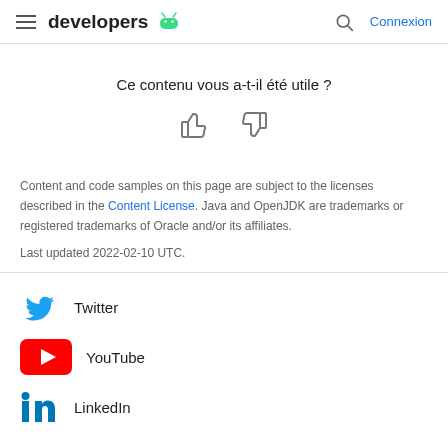developers [android logo] | Connexion
Ce contenu vous a-t-il été utile ?
[Figure (other): Thumbs up and thumbs down icons for feedback]
Content and code samples on this page are subject to the licenses described in the Content License. Java and OpenJDK are trademarks or registered trademarks of Oracle and/or its affiliates.
Last updated 2022-02-10 UTC.
Twitter
YouTube
LinkedIn